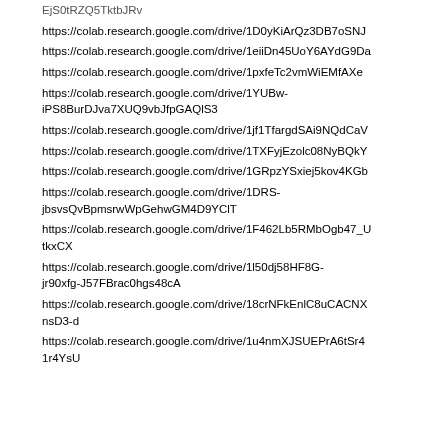EjS0tRZQ5TktbJRv
https://colab.research.google.com/drive/1D0yKiArQz3DB7oSNJ
https://colab.research.google.com/drive/1eiiDn45UoY6AYdG9Da
https://colab.research.google.com/drive/1pxfeTc2vmWiEMfAXe
https://colab.research.google.com/drive/1YUBw-iPS8BurDJva7XUQ9vbJfpGAQlS3
https://colab.research.google.com/drive/1jf1TfargdSAi9NQdCaV
https://colab.research.google.com/drive/1TXFyjEzolc08NyBQkY
https://colab.research.google.com/drive/1GRpzYSxiej5kov4KGb
https://colab.research.google.com/drive/1DRS-jbsvsQvBpmsrwWpGehwGM4D9YClT
https://colab.research.google.com/drive/1F462Lb5RMbOgb47_UtkxCX
https://colab.research.google.com/drive/1l50dj58HF8G-jr90xfg-J57FBrac0hgs48cA
https://colab.research.google.com/drive/18crNFkEnlC8uCACNXnsD3-d
https://colab.research.google.com/drive/1u4nmXJSUEPrA6tSr41r4YsU